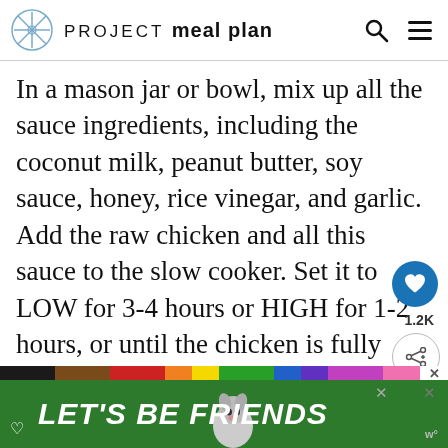PROJECT meal plan
In a mason jar or bowl, mix up all the sauce ingredients, including the coconut milk, peanut butter, soy sauce, honey, rice vinegar, and garlic. Add the raw chicken and all this sauce to the slow cooker. Set it to LOW for 3-4 hours or HIGH for 1-2 hours, or until the chicken is fully cooked through. The chicken should be very easy to pull apart and shred with two forks in the peanut sauce.
[Figure (other): Advertisement banner: LET'S BE FRIENDS with dog image on green background, with color bar strip above.]